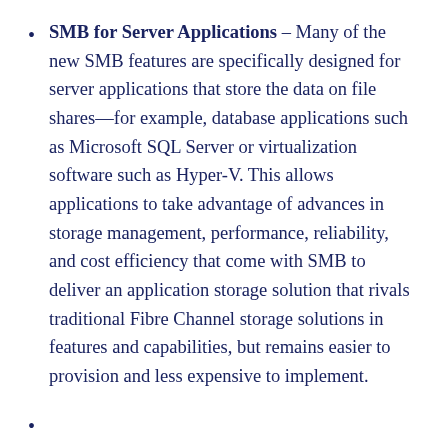SMB for Server Applications – Many of the new SMB features are specifically designed for server applications that store the data on file shares—for example, database applications such as Microsoft SQL Server or virtualization software such as Hyper-V. This allows applications to take advantage of advances in storage management, performance, reliability, and cost efficiency that come with SMB to deliver an application storage solution that rivals traditional Fibre Channel storage solutions in features and capabilities, but remains easier to provision and less expensive to implement.